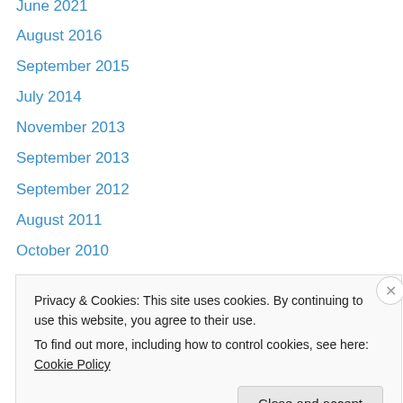June 2021
August 2016
September 2015
July 2014
November 2013
September 2013
September 2012
August 2011
October 2010
November 2009
May 2009
January 2009
December 2008
November 2008
Privacy & Cookies: This site uses cookies. By continuing to use this website, you agree to their use. To find out more, including how to control cookies, see here: Cookie Policy
Close and accept